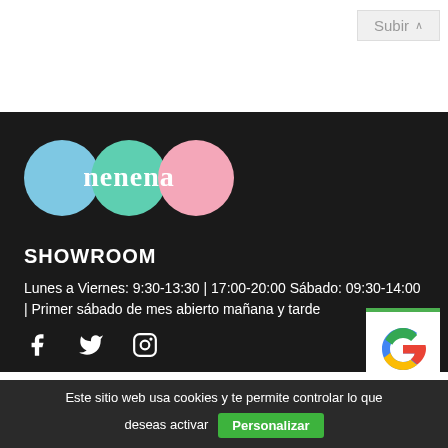Subir ∧
[Figure (logo): Nenena logo with three overlapping circles in blue, teal, and pink with the text 'nenena' in white]
SHOWROOM
Lunes a Viernes: 9:30-13:30 | 17:00-20:00 Sábado: 09:30-14:00 | Primer sábado de mes abierto mañana y tarde
[Figure (logo): Social media icons: Facebook, Twitter, Instagram]
[Figure (logo): Google G logo icon]
Este sitio web usa cookies y te permite controlar lo que deseas activar Personalizar